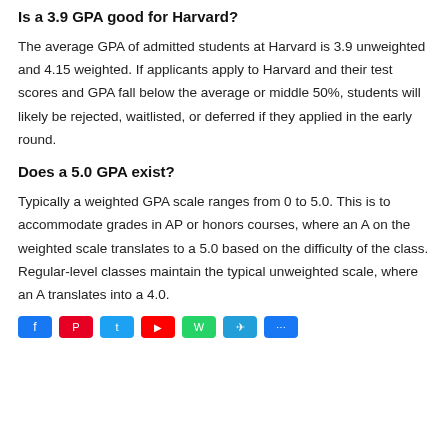Is a 3.9 GPA good for Harvard?
The average GPA of admitted students at Harvard is 3.9 unweighted and 4.15 weighted. If applicants apply to Harvard and their test scores and GPA fall below the average or middle 50%, students will likely be rejected, waitlisted, or deferred if they applied in the early round.
Does a 5.0 GPA exist?
Typically a weighted GPA scale ranges from 0 to 5.0. This is to accommodate grades in AP or honors courses, where an A on the weighted scale translates to a 5.0 based on the difficulty of the class. Regular-level classes maintain the typical unweighted scale, where an A translates into a 4.0.
[Figure (other): Social sharing buttons: blue Facebook, red Pinterest, blue Twitter, red YouTube, green WhatsApp, blue Telegram, blue other]